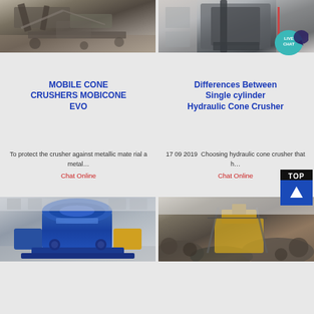[Figure (photo): Mobile cone crusher / mining machinery in dusty outdoor setting with conveyor belts and rock piles]
[Figure (photo): Single cylinder hydraulic cone crusher machine in industrial warehouse setting]
MOBILE CONE CRUSHERS MOBICONE EVO
Differences Between Single cylinder Hydraulic Cone Crusher
To protect the crusher against metallic mate rial a metal…
Chat Online
17 09 2019  Choosing hydraulic cone crusher that h…
Chat Online
[Figure (photo): Blue industrial VSI sand making machine / crusher in factory warehouse]
[Figure (photo): Outdoor quarry/mining jaw crusher with rocky terrain and yellow machinery]